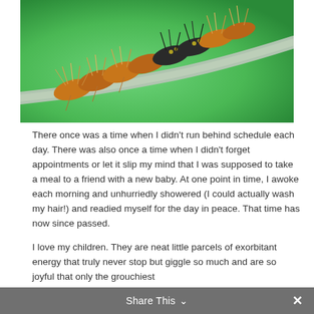[Figure (photo): Close-up macro photograph of a fuzzy/hairy caterpillar with orange, black and yellow bristles on a twig, against a bright green background]
There once was a time when I didn't run behind schedule each day.  There was also once a time when I didn't forget appointments or let it slip my mind that I was supposed to take a meal to a friend with a new baby.  At one point in time, I awoke each morning and unhurriedly showered (I could actually wash my hair!) and readied myself for the day in peace.  That time has now since passed.
I love my children.  They are neat little parcels of exorbitant energy that truly never stop but giggle so much and are so joyful that only the grouchiest
Share This ∨  ✕